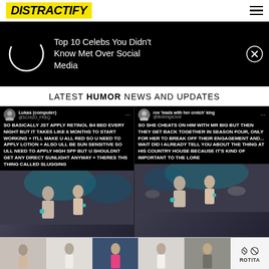DISTRACTIFY
[Figure (other): Advertisement banner: Top 10 Celebs You Didn't Know Met Over Social Media, with loading circle icon on black background]
LATEST HUMOR NEWS AND UPDATES
[Figure (screenshot): Tweet from Lukas (computer) @SCHIZO_FREQ: SO BASICALLY JST APPLY RETINOL B4 BED EVERY NIGHT BUT IT TAKES LIKE 6 MONTHS TO START WORKING + ITLL MAKE U ALL RED SO U NEED TO APPLY LOTION + ALSO ULL BE SUN SENSITIVE SO ULL NEED TO APPLY HIGH SPF BUT U SHOULDNT GET ANY DIRECT SUNLIGHT ANYWAY + THERES THS THING CALLED SLUGGING, with couple dancing photo below]
[Figure (screenshot): Tweet from rox 'leads with her crotch' king @flesKingsOost: SO SHE CHEATS ON HIM WITH MR BIG BUT THEN THEY GET BACK TOGETHER IN SEASON FOUR, ONLY FOR HER TO BREAK OFF THEIR ENGAGEMENT AND... WAIT DID I ALREADY TELL YOU ABOUT THE THING AT HIS COUNTRY HOUSE BECAUSE IT'S KIND OF IMPORTANT TO THE LORE, with party scene photo below]
[Figure (other): Rotita advertisement banner with fashion/clothing images]